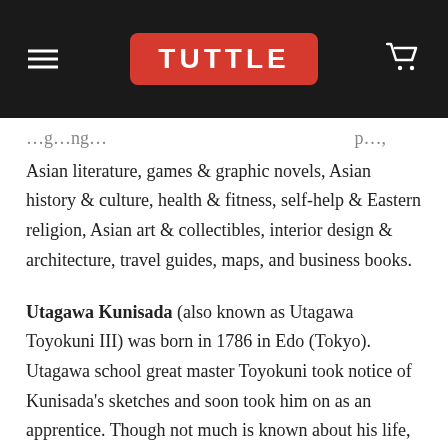[Figure (logo): Tuttle Publishing logo: red rounded rectangle with white bold text 'TUTTLE', on a dark/black navigation bar with hamburger menu icon on left and shopping cart icon on right]
Asian literature, games & graphic novels, Asian history & culture, health & fitness, self-help & Eastern religion, Asian art & collectibles, interior design & architecture, travel guides, maps, and business books.
Utagawa Kunisada (also known as Utagawa Toyokuni III) was born in 1786 in Edo (Tokyo). Utagawa school great master Toyokuni took notice of Kunisada's sketches and soon took him on as an apprentice. Though not much is known about his life, Kunisada rose to fame as the most successful, popular and prolific ukiyo-e woodblock print artist of his time, surpassing contemporaries such as Hiroshige and Hokusai.